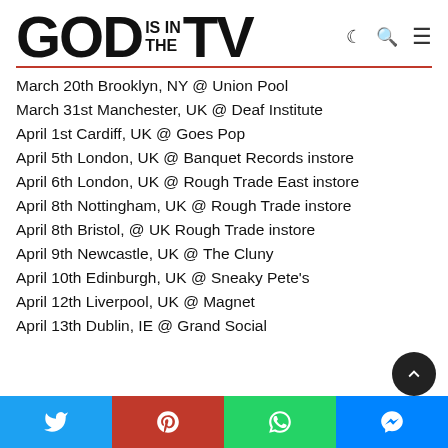GOD IS IN THE TV
March 20th Brooklyn, NY @ Union Pool
March 31st Manchester, UK @ Deaf Institute
April 1st Cardiff, UK @ Goes Pop
April 5th London, UK @ Banquet Records instore
April 6th London, UK @ Rough Trade East instore
April 8th Nottingham, UK @ Rough Trade instore
April 8th Bristol, @ UK Rough Trade instore
April 9th Newcastle, UK @ The Cluny
April 10th Edinburgh, UK @ Sneaky Pete's
April 12th Liverpool, UK @ Magnet
April 13th Dublin, IE @ Grand Social